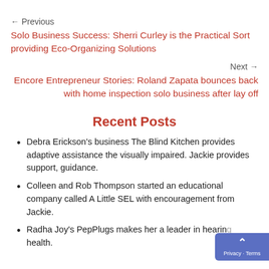← Previous
Solo Business Success: Sherri Curley is the Practical Sort providing Eco-Organizing Solutions
Next →
Encore Entrepreneur Stories: Roland Zapata bounces back with home inspection solo business after lay off
Recent Posts
Debra Erickson's business The Blind Kitchen provides adaptive assistance the visually impaired. Jackie provides support, guidance.
Colleen and Rob Thompson started an educational company called A Little SEL with encouragement from Jackie.
Radha Joy's PepPlugs makes her a leader in hearing health.